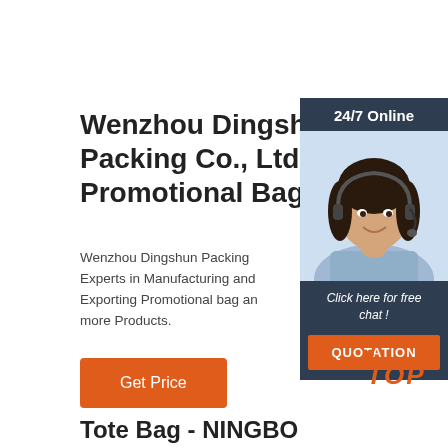Wenzhou Dingshun Packing Co., Ltd. - Promotional Bag
Wenzhou Dingshun Packing Co., Ltd., Experts in Manufacturing and Exporting Promotional bag and more Products.
[Figure (photo): Customer service representative chat widget with '24/7 Online' header, photo of woman with headset, 'Click here for free chat!' text, and orange QUOTATION button]
[Figure (other): Orange TOP button with dot arc decoration above text]
Tote Bag - NINGBO